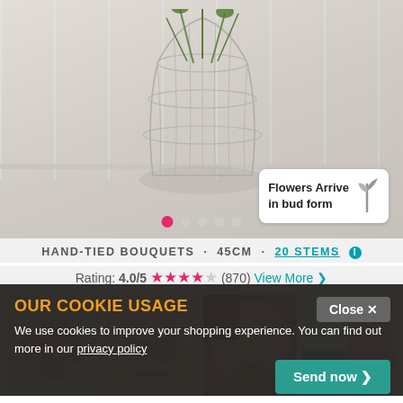[Figure (photo): Hero image showing a floral arrangement in a wire vase with flowers, set on a white surface. Overlaid badge says 'Flowers Arrive in bud form'. Five navigation dots at bottom with first dot active.]
HAND-TIED BOUQUETS · 45CM · 20 STEMS ℹ
Rating: 4.0/5 ★★★★☆ (870) View More ›
[Figure (photo): Four thumbnail images of pink and red flower bouquets including mixed bouquets and close-up lily shots. Fourth thumbnail shows split 'FROM BUD TO BLOOM' overlay.]
CHOOSE DATE & TIME
Tue   Wed   Thu Sep 01   (calendar icon)
Total £44.99
Standard delivery is FREE
OUR COOKIE USAGE
We use cookies to improve your shopping experience. You can find out more in our privacy policy
Close ✕
Send now ›